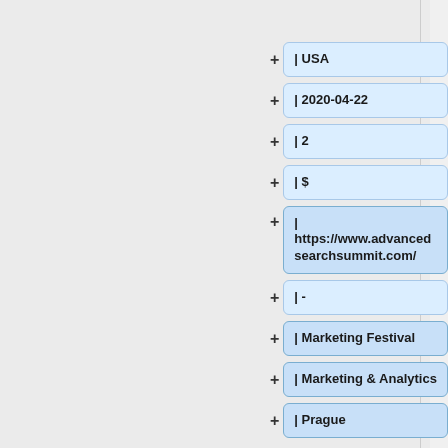| USA
| 2020-04-22
| 2
| $
| https://www.advancedsearchsummit.com/
| -
| Marketing Festival
| Marketing & Analytics
| Prague